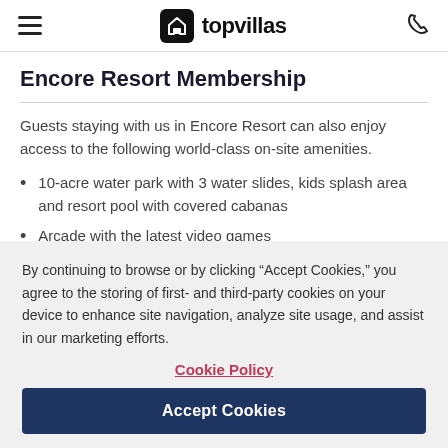topvillas
Encore Resort Membership
Guests staying with us in Encore Resort can also enjoy access to the following world-class on-site amenities.
10-acre water park with 3 water slides, kids splash area and resort pool with covered cabanas
Arcade with the latest video games
By continuing to browse or by clicking “Accept Cookies,” you agree to the storing of first- and third-party cookies on your device to enhance site navigation, analyze site usage, and assist in our marketing efforts.
Cookie Policy
Accept Cookies